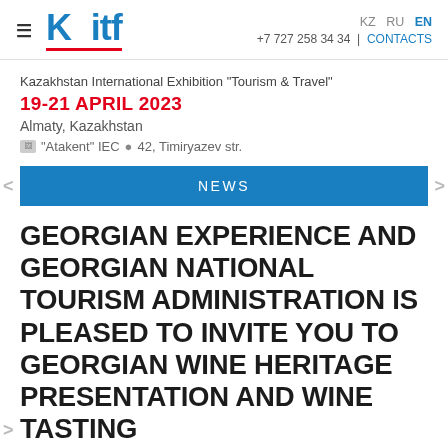KITF | KZ RU EN | +7 727 258 34 34 | CONTACTS
Kazakhstan International Exhibition "Tourism & Travel"
19-21 APRIL 2023
Almaty, Kazakhstan
"Atakent" IEC  42, Timiryazev str.
NEWS
GEORGIAN EXPERIENCE AND GEORGIAN NATIONAL TOURISM ADMINISTRATION IS PLEASED TO INVITE YOU TO GEORGIAN WINE HERITAGE PRESENTATION AND WINE TASTING